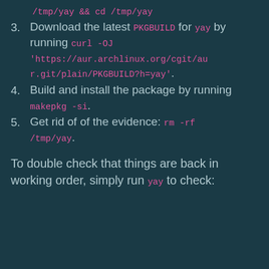/tmp/yay && cd /tmp/yay
3. Download the latest PKGBUILD for yay by running curl -OJ 'https://aur.archlinux.org/cgit/aur.git/plain/PKGBUILD?h=yay'.
4. Build and install the package by running makepkg -si.
5. Get rid of of the evidence: rm -rf /tmp/yay.
To double check that things are back in working order, simply run yay to check: